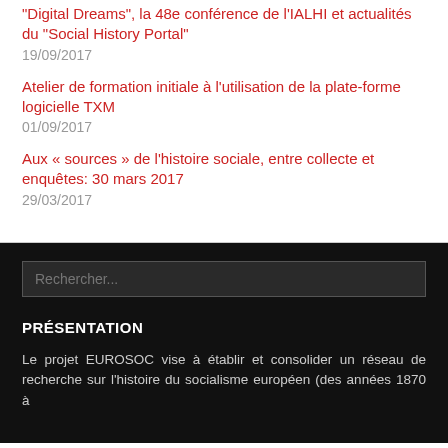"Digital Dreams", la 48e conférence de l'IALHI et actualités du "Social History Portal"
19/09/2017
Atelier de formation initiale à l'utilisation de la plate-forme logicielle TXM
01/09/2017
Aux « sources » de l'histoire sociale, entre collecte et enquêtes: 30 mars 2017
29/03/2017
PRÉSENTATION
Le projet EUROSOC vise à établir et consolider un réseau de recherche sur l'histoire du socialisme européen (des années 1870 à